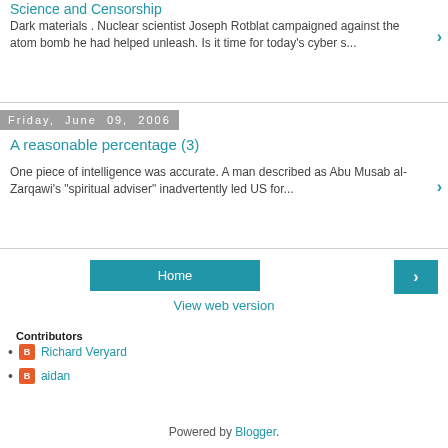Science and Censorship
Dark materials . Nuclear scientist Joseph Rotblat campaigned against the atom bomb he had helped unleash. Is it time for today's cyber s...
Friday, June 09, 2006
A reasonable percentage (3)
One piece of intelligence was accurate. A man described as Abu Musab al-Zarqawi's "spiritual adviser" inadvertently led US for...
Home
View web version
Contributors
Richard Veryard
aidan
Powered by Blogger.